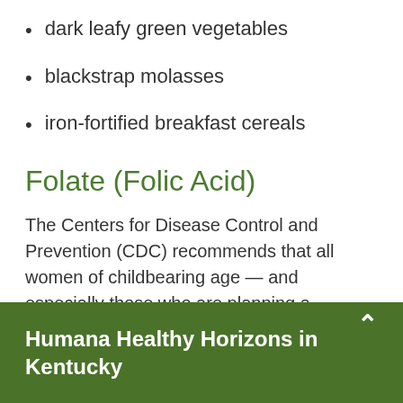dark leafy green vegetables
blackstrap molasses
iron-fortified breakfast cereals
Folate (Folic Acid)
The Centers for Disease Control and Prevention (CDC) recommends that all women of childbearing age — and especially those who are planning a
Humana Healthy Horizons in Kentucky